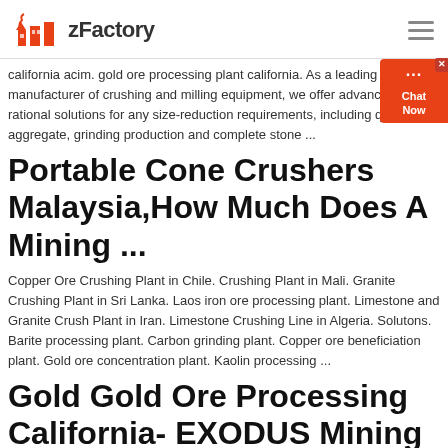zFactory
california acim. gold ore processing plant california. As a leading global manufacturer of crushing and milling equipment, we offer advanced, rational solutions for any size-reduction requirements, including quarry, aggregate, grinding production and complete stone ...
Portable Cone Crushers Malaysia,How Much Does A Mining ...
Copper Ore Crushing Plant in Chile. Crushing Plant in Mali. Granite Crushing Plant in Sri Lanka. Laos iron ore processing plant. Limestone and Granite Crush Plant in Iran. Limestone Crushing Line in Algeria. Solutons. Barite processing plant. Carbon grinding plant. Copper ore beneficiation plant. Gold ore concentration plant. Kaolin processing ...
Gold Gold Ore Processing California- EXODUS Mining